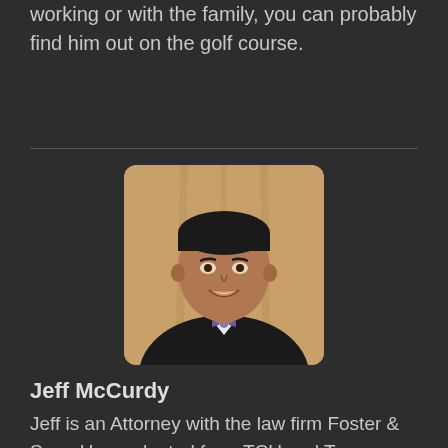working or with the family, you can probably find him out on the golf course.
[Figure (photo): Headshot of Jeff McCurdy, a man in a black suit with a purple bow tie, smiling, in front of a beige curtain background. Photo has rounded corners.]
Jeff McCurdy
Jeff is an Attorney with the law firm Foster & Sear. He graduated from TCU and Texas Wesleyan University Law School. He also served as chairman